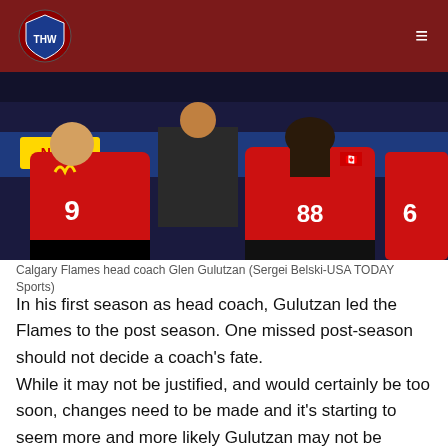THW (The Hockey Writers) navigation bar
[Figure (photo): Calgary Flames players sitting on the bench in red jerseys; a coach stands behind them. NAPA advertising board visible in background. Players wearing number 9, 88, and 6 visible.]
Calgary Flames head coach Glen Gulutzan (Sergei Belski-USA TODAY Sports)
In his first season as head coach, Gulutzan led the Flames to the post season. One missed post-season should not decide a coach's fate.
While it may not be justified, and would certainly be too soon, changes need to be made and it’s starting to seem more and more likely Gulutzan may not be around next season. Although